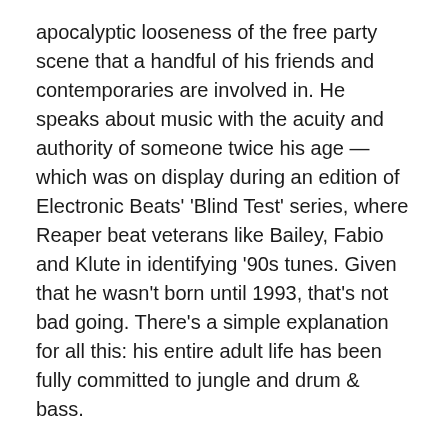apocalyptic looseness of the free party scene that a handful of his friends and contemporaries are involved in. He speaks about music with the acuity and authority of someone twice his age — which was on display during an edition of Electronic Beats' 'Blind Test' series, where Reaper beat veterans like Bailey, Fabio and Klute in identifying '90s tunes. Given that he wasn't born until 1993, that's not bad going. There's a simple explanation for all this: his entire adult life has been fully committed to jungle and drum & bass.
Having had his brain rearranged on a molecular level by 'Super Sharp Shooter', Reaper began producing tunes on his laptop with no surplus equipment — still how he works to this day — and would log onto the Subvert Central forum after school, talking a big game amongst established heads in a tight-knit